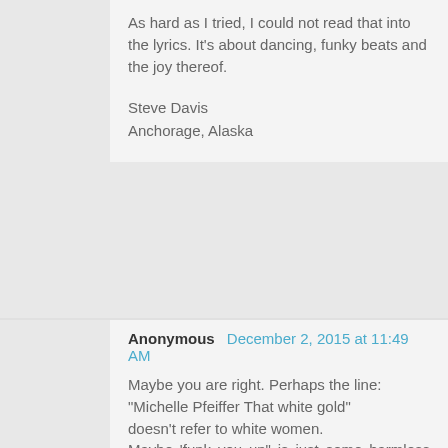As hard as I tried, I could not read that into the lyrics. It's about dancing, funky beats and the joy thereof.

Steve Davis
Anchorage, Alaska
Anonymous December 2, 2015 at 11:49 AM

Maybe you are right. Perhaps the line: "Michelle Pfeiffer That white gold" doesn't refer to white women. Maybe 'funk you up" is just some harmless phrase and not code for a word that rhymes (even though it is commonly used that way in rap). And I'm sure the line "Cause uptown funk gon' give it to you" doesn't really mean 'give it to you' it probably means something totally unrelated to sex.

So I take it all back it is just about dancing and